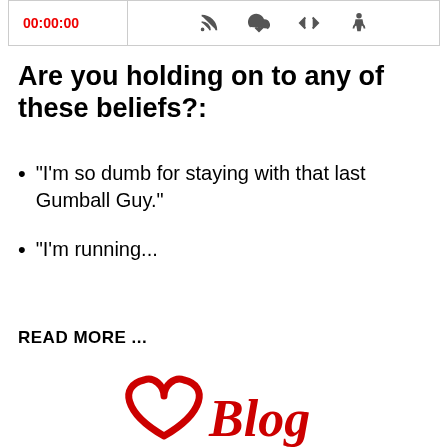[Figure (screenshot): Audio player bar showing red timestamp 00:00:00 and icons for RSS feed, download, embed code, and accessibility]
Are you holding on to any of these beliefs?:
"I'm so dumb for staying with that last Gumball Guy."
"I'm running...
READ MORE ...
[Figure (logo): Red heart outline with cursive Blog text beside it]